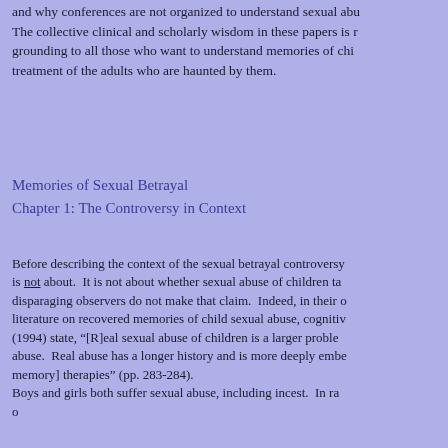and why conferences are not organized to understand sexual abu... The collective clinical and scholarly wisdom in these papers is r... grounding to all those who want to understand memories of chi... treatment of the adults who are haunted by them.
Memories of Sexual Betrayal
Chapter 1: The Controversy in Context
Before describing the context of the sexual betrayal controversy... is not about. It is not about whether sexual abuse of children ta... disparaging observers do not make that claim. Indeed, in their o... literature on recovered memories of child sexual abuse, cognitiv... (1994) state, “[R]eal sexual abuse of children is a larger proble... abuse. Real abuse has a longer history and is more deeply embe... memory] therapies” (pp. 283-284). Boys and girls both suffer sexual abuse, including incest. In ra... o...